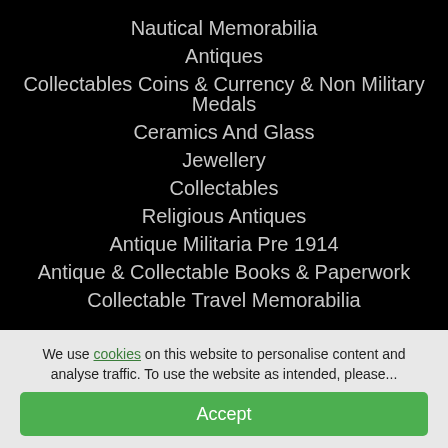Nautical Memorabilia
Antiques
Collectables Coins & Currency & Non Military Medals
Ceramics And Glass
Jewellery
Collectables
Religious Antiques
Antique Militaria Pre 1914
Antique & Collectable Books & Paperwork
Collectable Travel Memorabilia
We use cookies on this website to personalise content and analyse traffic. To use the website as intended, please...
Accept